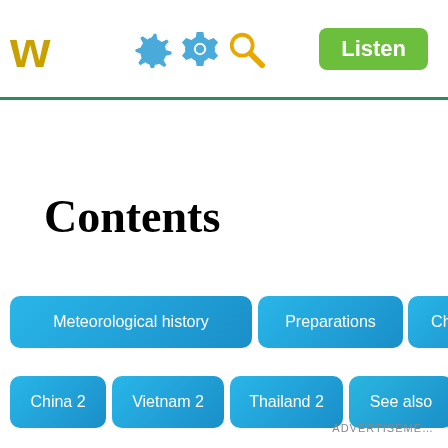W  [gear icon] [search icon]  Listen
Contents
Meteorological history
Preparations
China
China 2
Vietnam 2
Thailand 2
See also
ADVERTISEMENT